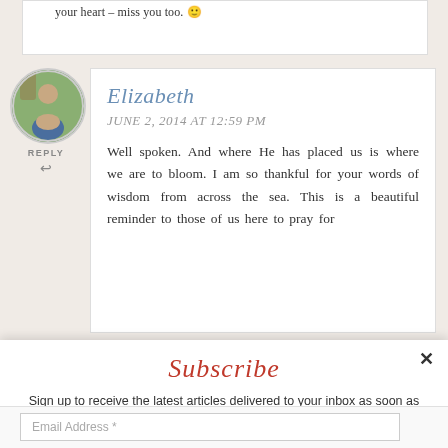your heart – miss you too. 😊
[Figure (photo): Circular avatar photo of Elizabeth, a woman with dark hair, standing outdoors]
REPLY ↩
Elizabeth
JUNE 2, 2014 AT 12:59 PM
Well spoken. And where He has placed us is where we are to bloom. I am so thankful for your words of wisdom from across the sea. This is a beautiful reminder to those of us here to pray for
Subscribe
Sign up to receive the latest articles delivered to your inbox as soon as they are posted.
Email Address *